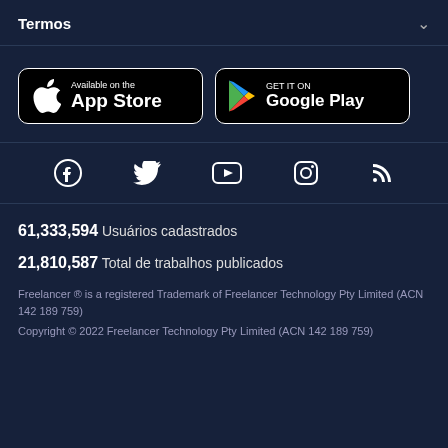Termos
[Figure (logo): App Store and Google Play download buttons]
[Figure (infographic): Social media icons: Facebook, Twitter, YouTube, Instagram, RSS]
61,333,594  Usuários cadastrados
21,810,587  Total de trabalhos publicados
Freelancer ® is a registered Trademark of Freelancer Technology Pty Limited (ACN 142 189 759)
Copyright © 2022 Freelancer Technology Pty Limited (ACN 142 189 759)